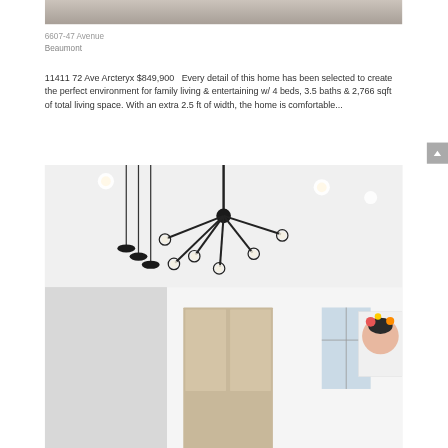[Figure (photo): Top portion of a room interior showing light wood flooring or ceiling, cropped at top]
6607-47 Avenue
Beaumont
11411 72 Ave Arcteryx $849,900   Every detail of this home has been selected to create the perfect environment for family living & entertaining w/ 4 beds, 3.5 baths & 2,766 sqft of total living space. With an extra 2.5 ft of width, the home is comfortable...
[Figure (photo): Interior photo of a modern home showing a decorative black branching chandelier on white ceiling, pendant lights, kitchen cabinetry in background, and colorful artwork on white walls]